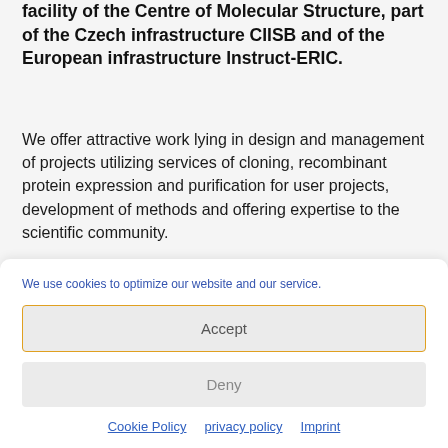facility of the Centre of Molecular Structure, part of the Czech infrastructure CIISB and of the European infrastructure Instruct-ERIC.
We offer attractive work lying in design and management of projects utilizing services of cloning, recombinant protein expression and purification for user projects, development of methods and offering expertise to the scientific community.
We use cookies to optimize our website and our service.
Accept
Deny
Cookie Policy  privacy policy  Imprint